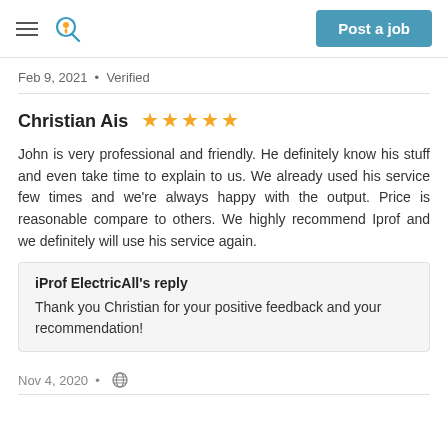Post a job
Feb 9, 2021 • Verified
Christian Ais ★★★★★
John is very professional and friendly. He definitely know his stuff and even take time to explain to us. We already used his service few times and we're always happy with the output. Price is reasonable compare to others. We highly recommend Iprof and we definitely will use his service again.
iProf ElectricAll's reply
Thank you Christian for your positive feedback and your recommendation!
Nov 4, 2020 • 🌐